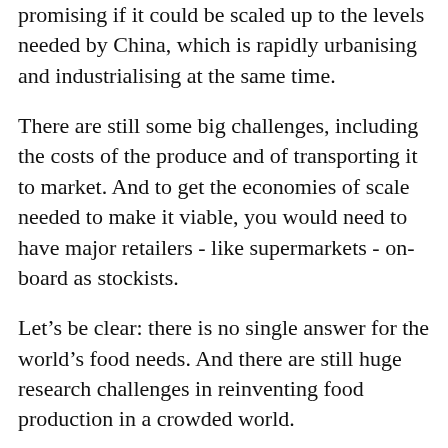promising if it could be scaled up to the levels needed by China, which is rapidly urbanising and industrialising at the same time.
There are still some big challenges, including the costs of the produce and of transporting it to market. And to get the economies of scale needed to make it viable, you would need to have major retailers - like supermarkets - on-board as stockists.
Let's be clear: there is no single answer for the world's food needs. And there are still huge research challenges in reinventing food production in a crowded world.
But there are also vast entrepreneurial opportunities. So from an Australian perspective, it will be exciting to keep watching to see how the Sundrop Farms model works out.